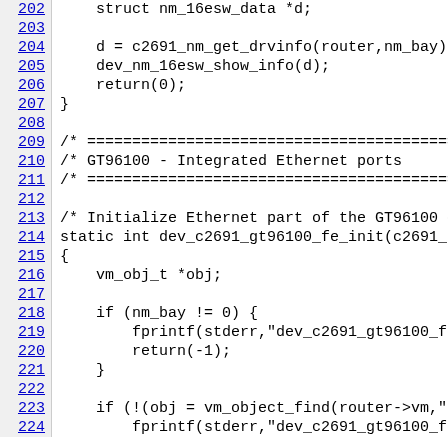Source code listing, lines 202-224, C programming language showing network module initialization functions for nm_16esw and GT96100 Ethernet controller.